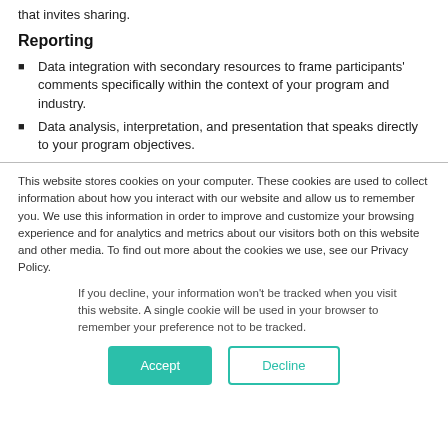that invites sharing.
Reporting
Data integration with secondary resources to frame participants' comments specifically within the context of your program and industry.
Data analysis, interpretation, and presentation that speaks directly to your program objectives.
This website stores cookies on your computer. These cookies are used to collect information about how you interact with our website and allow us to remember you. We use this information in order to improve and customize your browsing experience and for analytics and metrics about our visitors both on this website and other media. To find out more about the cookies we use, see our Privacy Policy.
If you decline, your information won't be tracked when you visit this website. A single cookie will be used in your browser to remember your preference not to be tracked.